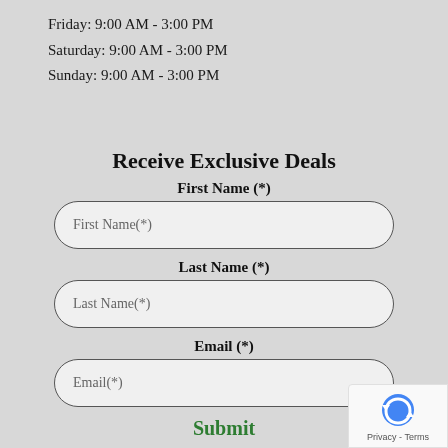Friday: 9:00 AM - 3:00 PM
Saturday: 9:00 AM - 3:00 PM
Sunday: 9:00 AM - 3:00 PM
Receive Exclusive Deals
First Name (*)
First Name(*)
Last Name (*)
Last Name(*)
Email (*)
Email(*)
Submit